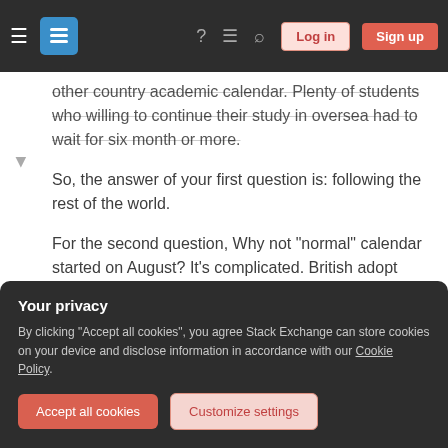Stack Exchange navigation bar with hamburger menu, logo, help, chat, search icons, Log in and Sign up buttons
other country academic calendar. Plenty of students who willing to continue their study in oversea had to wait for six month or more.
So, the answer of your first question is: following the rest of the world.
For the second question, Why not "normal" calendar started on August? It's complicated. British adopt January as a new calendar since 1751. (CMIIW)
The Byzantine Empire used a year starting on 1
Your privacy
By clicking "Accept all cookies", you agree Stack Exchange can store cookies on your device and disclose information in accordance with our Cookie Policy.
Accept all cookies
Customize settings